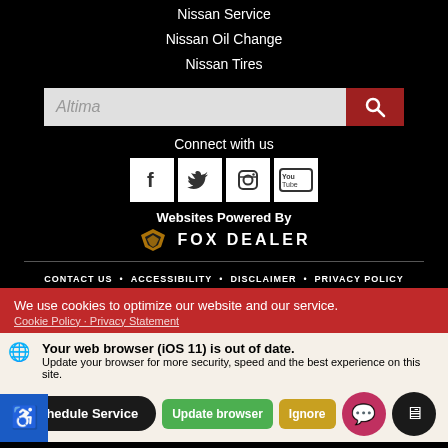Nissan Service
Nissan Oil Change
Nissan Tires
[Figure (screenshot): Search bar with placeholder text 'Altima' and a red search button with magnifying glass icon]
Connect with us
[Figure (infographic): Social media icons: Facebook, Twitter, Instagram, YouTube]
Websites Powered By FOX DEALER
CONTACT US • ACCESSIBILITY • DISCLAIMER • PRIVACY POLICY
We use cookies to optimize our website and our service.
Cookie Policy · Privacy Statement
Your web browser (iOS 11) is out of date.
Update your browser for more security, speed and the best experience on this site.
[Figure (infographic): Schedule Service button, Update browser button, Ignore button, chat button, video chat button, accessibility icon]